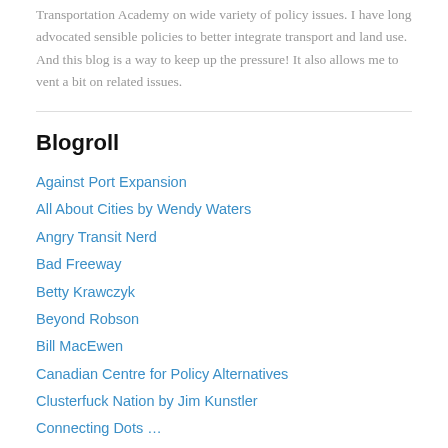Transportation Academy on wide variety of policy issues. I have long advocated sensible policies to better integrate transport and land use. And this blog is a way to keep up the pressure! It also allows me to vent a bit on related issues.
Blogroll
Against Port Expansion
All About Cities by Wendy Waters
Angry Transit Nerd
Bad Freeway
Betty Krawczyk
Beyond Robson
Bill MacEwen
Canadian Centre for Policy Alternatives
Clusterfuck Nation by Jim Kunstler
Connecting Dots …
Countably Infinite
davidpritchard.org
DeSmogBlog